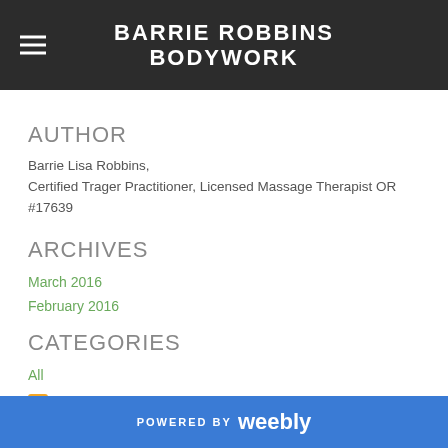BARRIE ROBBINS BODYWORK
AUTHOR
Barrie Lisa Robbins,
Certified Trager Practitioner, Licensed Massage Therapist OR #17639
ARCHIVES
March 2016
February 2016
CATEGORIES
All
RSS Feed
POWERED BY weebly